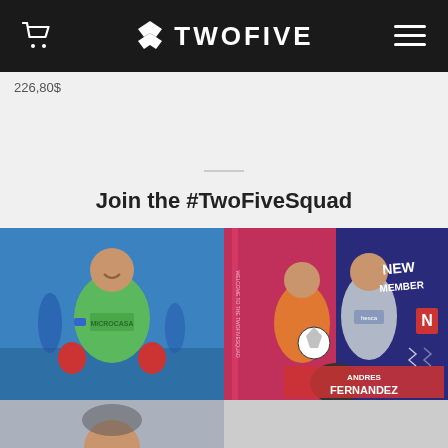TWOFIVE
226,80$
Join the #TwoFiveSquad
[Figure (photo): Goalkeeper in green jersey and red gloves smiling on a blue training pitch background]
[Figure (photo): New member welcome card for Andres Fernandez with red/blue background, showing two goalkeepers with gloves, text reads NEW MEMBER ANDRES FERNANDEZ]
[Figure (photo): Partial bottom-left photo of a person, cropped]
[Figure (photo): Partial bottom-right photo, cropped]